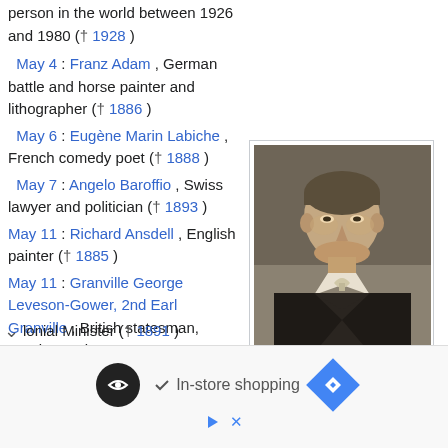person in the world between 1926 and 1980 († 1928)
May 4 : Franz Adam , German battle and horse painter and lithographer († 1886)
May 6 : Eugène Marin Labiche , French comedy poet († 1888)
[Figure (photo): Portrait painting of Eugène Marin Labiche, a 19th century French playwright, depicted as an older man in dark clothing with a cravat, painted in muted browns and grays.]
Eugène Marin Labiche
May 7 : Angelo Baroffio , Swiss lawyer and politician († 1893)
May 11 : Richard Ansdell , English painter († 1885)
May 11 : Granville George Leveson-Gower, 2nd Earl Granville , British statesman, Foreign and Colonial Minister († 1891)